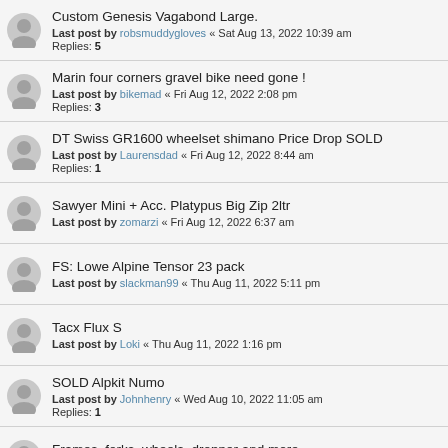Custom Genesis Vagabond Large.
Last post by robsmuddygloves « Sat Aug 13, 2022 10:39 am
Replies: 5
Marin four corners gravel bike need gone !
Last post by bikemad « Fri Aug 12, 2022 2:08 pm
Replies: 3
DT Swiss GR1600 wheelset shimano Price Drop SOLD
Last post by Laurensdad « Fri Aug 12, 2022 8:44 am
Replies: 1
Sawyer Mini + Acc. Platypus Big Zip 2ltr
Last post by zomarzi « Fri Aug 12, 2022 6:37 am
FS: Lowe Alpine Tensor 23 pack
Last post by slackman99 « Thu Aug 11, 2022 5:11 pm
Tacx Flux S
Last post by Loki « Thu Aug 11, 2022 1:16 pm
SOLD Alpkit Numo
Last post by Johnhenry « Wed Aug 10, 2022 11:05 am
Replies: 1
Frames, forks, wheels, dropper and more
Last post by CJR61 « Wed Aug 10, 2022 9:19 am